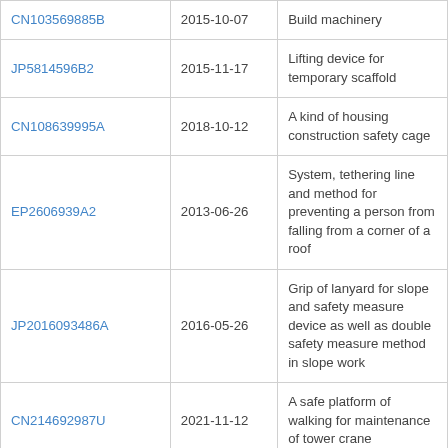|  |  |  |
| --- | --- | --- |
| CN103569885B | 2015-10-07 | Build machinery |
| JP5814596B2 | 2015-11-17 | Lifting device for temporary scaffold |
| CN108639995A | 2018-10-12 | A kind of housing construction safety cage |
| EP2606939A2 | 2013-06-26 | System, tethering line and method for preventing a person from falling from a corner of a roof |
| JP2016093486A | 2016-05-26 | Grip of lanyard for slope and safety measure device as well as double safety measure method in slope work |
| CN214692987U | 2021-11-12 | A safe platform of walking for maintenance of tower crane |